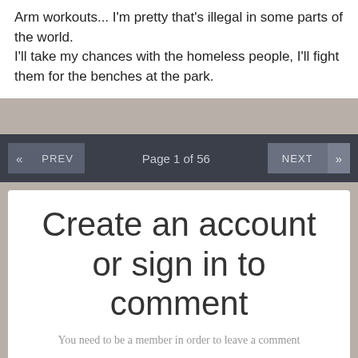Arm workouts... I'm pretty that's illegal in some parts of the world. I'll take my chances with the homeless people, I'll fight them for the benches at the park.
Page 1 of 56
Create an account or sign in to comment
You need to be a member in order to leave a comment
Create an account
Sign up for a new account in our community. It's easy!